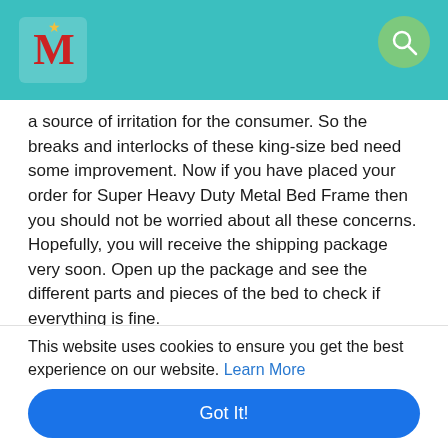[Figure (logo): Website logo with decorative red/gold design on teal header background]
[Figure (other): Search icon button (magnifying glass) in green circle on teal header]
a source of irritation for the consumer. So the breaks and interlocks of these king-size bed need some improvement. Now if you have placed your order for Super Heavy Duty Metal Bed Frame then you should not be worried about all these concerns. Hopefully, you will receive the shipping package very soon. Open up the package and see the different parts and pieces of the bed to check if everything is fine.
Though you can assemble it on your own if you have a company that will be helpful, for you. You might consider it not a very strong and sturdy bed but surely, you will be convinced that it is strong enough to bear the weight of a couple easily. You are suggested to just experience it for a couple of months, certainly, after that, you will be posting some positive comments and reviews for the same
This website uses cookies to ensure you get the best experience on our website. Learn More
Got It!